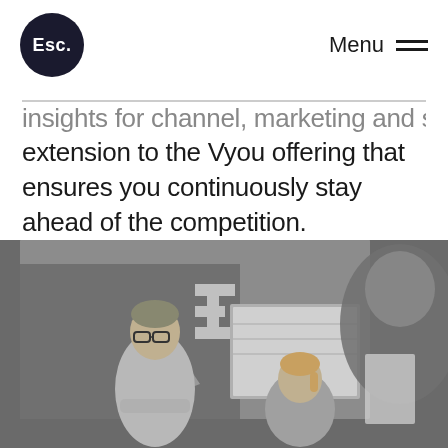Esc. | Menu
insights for channel, marketing and strategy — an extension to the Vyou offering that ensures you continuously stay ahead of the competition.
[Figure (photo): Black and white photo of a business meeting: a man with glasses and arms crossed stands in front of a presentation screen with an Esc. logo visible on the wall. A woman with a ponytail and another person are also present.]